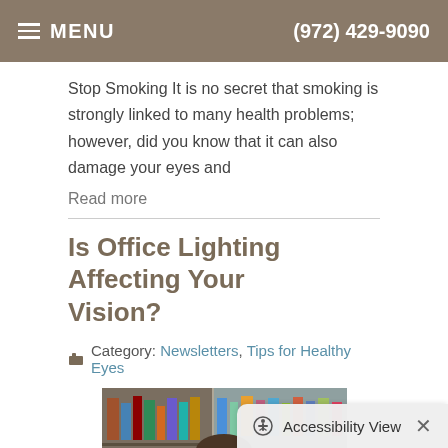MENU  (972) 429-9090
Stop Smoking It is no secret that smoking is strongly linked to many health problems; however, did you know that it can also damage your eyes and
Read more
Is Office Lighting Affecting Your Vision?
Category: Newsletters, Tips for Healthy Eyes
[Figure (photo): Man with glasses sitting at a laptop, thinking, with bookshelves in the background]